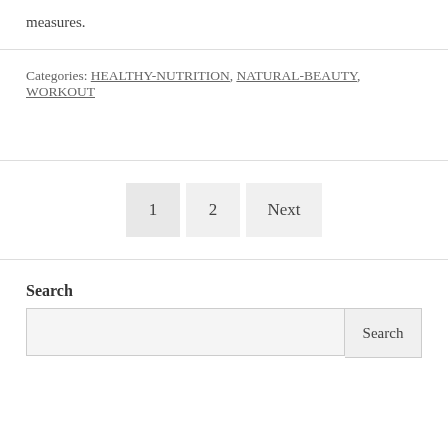measures.
Categories: HEALTHY-NUTRITION, NATURAL-BEAUTY, WORKOUT
1  2  Next
Search